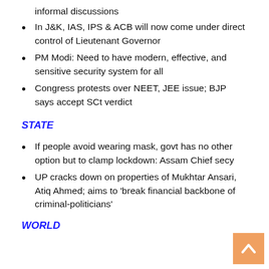informal discussions
In J&K, IAS, IPS & ACB will now come under direct control of Lieutenant Governor
PM Modi: Need to have modern, effective, and sensitive security system for all
Congress protests over NEET, JEE issue; BJP says accept SCt verdict
STATE
If people avoid wearing mask, govt has no other option but to clamp lockdown: Assam Chief secy
UP cracks down on properties of Mukhtar Ansari, Atiq Ahmed; aims to 'break financial backbone of criminal-politicians'
WORLD